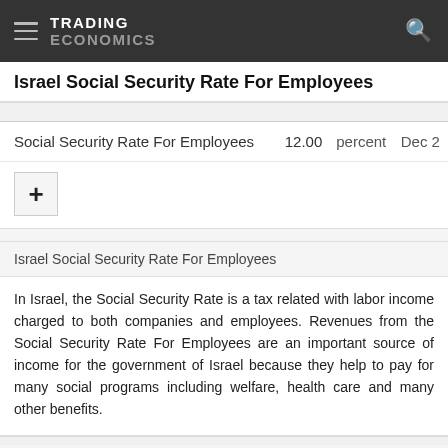TRADING ECONOMICS
Israel Social Security Rate For Employees
|  |  | percent | Dec 2 |
| --- | --- | --- | --- |
| Social Security Rate For Employees | 12.00 | percent | Dec 2 |
Israel Social Security Rate For Employees
In Israel, the Social Security Rate is a tax related with labor income charged to both companies and employees. Revenues from the Social Security Rate For Employees are an important source of income for the government of Israel because they help to pay for many social programs including welfare, health care and many other benefits.